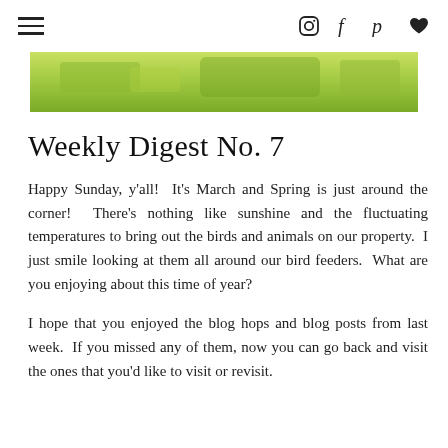≡  Instagram Facebook Pinterest Heart
[Figure (photo): Green nature/garden image strip at the top of the page]
Weekly Digest No. 7
Happy Sunday, y'all!  It's March and Spring is just around the corner!  There's nothing like sunshine and the fluctuating temperatures to bring out the birds and animals on our property.  I just smile looking at them all around our bird feeders.  What are you enjoying about this time of year?
I hope that you enjoyed the blog hops and blog posts from last week.  If you missed any of them, now you can go back and visit the ones that you'd like to visit or revisit.